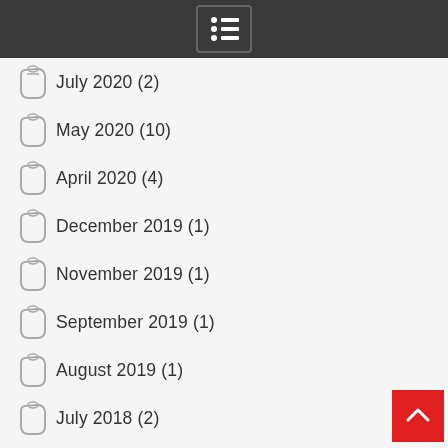July 2020 (2)
May 2020 (10)
April 2020 (4)
December 2019 (1)
November 2019 (1)
September 2019 (1)
August 2019 (1)
July 2018 (2)
June 2018 (1)
May 2018 (2)
April 2018 (1)
March 2018 (1)
February 2018 (1)